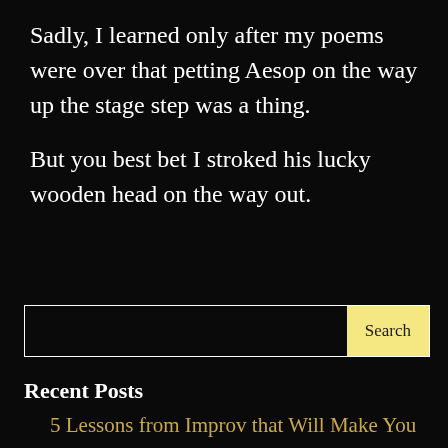Sadly, I learned only after my poems were over that petting Aesop on the way up the stage step was a thing.

But you best bet I stroked his lucky wooden head on the way out.
Search
Recent Posts
5 Lessons from Improv that Will Make You a Better Open Mic Host